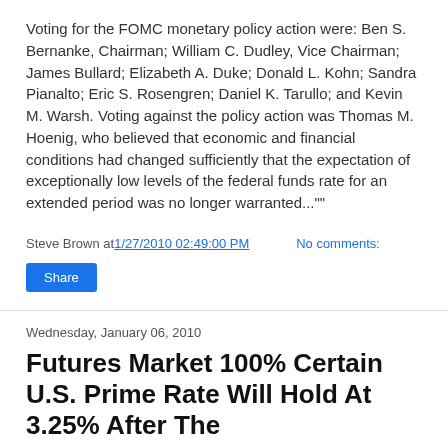Voting for the FOMC monetary policy action were: Ben S. Bernanke, Chairman; William C. Dudley, Vice Chairman; James Bullard; Elizabeth A. Duke; Donald L. Kohn; Sandra Pianalto; Eric S. Rosengren; Daniel K. Tarullo; and Kevin M. Warsh. Voting against the policy action was Thomas M. Hoenig, who believed that economic and financial conditions had changed sufficiently that the expectation of exceptionally low levels of the federal funds rate for an extended period was no longer warranted..."
Steve Brown at 1/27/2010 02:49:00 PM   No comments:
Share
Wednesday, January 06, 2010
Futures Market 100% Certain U.S. Prime Rate Will Hold At 3.25% After The